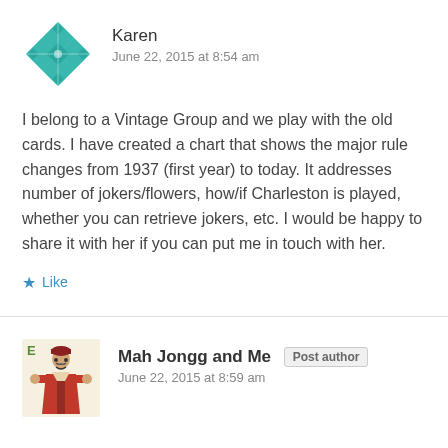[Figure (illustration): Teal/green geometric avatar icon with diamond/quilt pattern on white background]
Karen
June 22, 2015 at 8:54 am
I belong to a Vintage Group and we play with the old cards. I have created a chart that shows the major rule changes from 1937 (first year) to today. It addresses number of jokers/flowers, how/if Charleston is played, whether you can retrieve jokers, etc. I would be happy to share it with her if you can put me in touch with her.
Like
[Figure (illustration): Small illustration of a man in red traditional asian costume on cream background with letter E]
Mah Jongg and Me
Post author
June 22, 2015 at 8:59 am